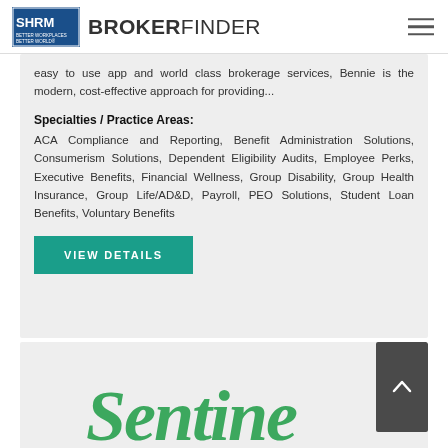SHRM BROKERFINDER
easy to use app and world class brokerage services, Bennie is the modern, cost-effective approach for providing...
Specialties / Practice Areas:
ACA Compliance and Reporting, Benefit Administration Solutions, Consumerism Solutions, Dependent Eligibility Audits, Employee Perks, Executive Benefits, Financial Wellness, Group Disability, Group Health Insurance, Group Life/AD&D, Payroll, PEO Solutions, Student Loan Benefits, Voluntary Benefits
VIEW DETAILS
[Figure (logo): Partial green stylized logo visible at bottom of page]